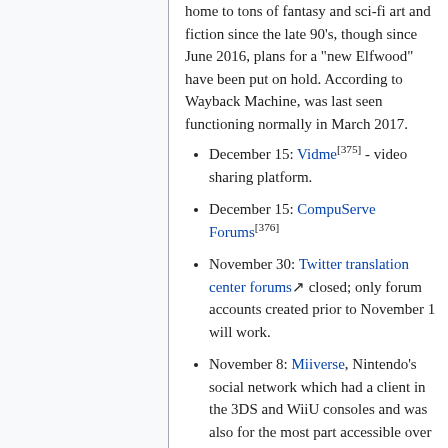home to tons of fantasy and sci-fi art and fiction since the late 90's, though since June 2016, plans for a "new Elfwood" have been put on hold. According to Wayback Machine, was last seen functioning normally in March 2017.
December 15: Vidme[375] - video sharing platform.
December 15: CompuServe Forums[376]
November 30: Twitter translation center forums closed; only forum accounts created prior to November 1 will work.
November 8: Miiverse, Nintendo's social network which had a client in the 3DS and WiiU consoles and was also for the most part accessible over a PC web browser, was shut down